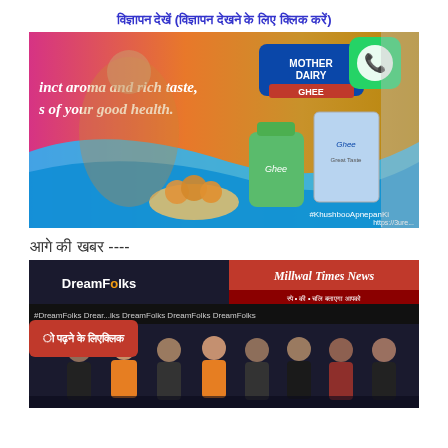विज्ञापन देखें (विज्ञापन देखने के लिए क्लिक करें)
[Figure (photo): Mother Dairy Ghee advertisement showing a woman in traditional attire with ladoos, Mother Dairy Ghee jar and box, text 'inct aroma and rich taste, s of your good health.' and '#KhushbooApnepanKi'. Also shows WhatsApp icon and partial second image.]
आगे की खबर ----
[Figure (photo): DreamFolks event photo with group of people in formal attire, branded backdrop with DreamFolks logo, Millwal Times News banner at top.]
ो पढ़ने के लिएक्लिक